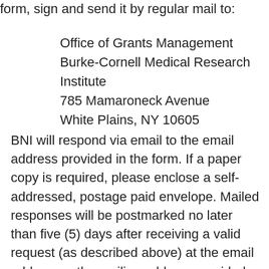form, sign and send it by regular mail to:
Office of Grants Management
Burke-Cornell Medical Research Institute
785 Mamaroneck Avenue
White Plains, NY 10605
BNI will respond via email to the email address provided in the form. If a paper copy is required, please enclose a self- addressed, postage paid envelope. Mailed responses will be postmarked no later than five (5) days after receiving a valid request (as described above) at the email address or the mailing address provided above.